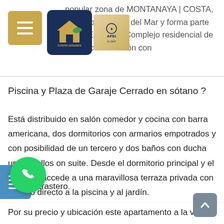popular zona de MONTANAYA | COSTA, a tan solo metros del Mar y forma parte de un Exclusivo Complejo residencial de nueva construcción con
[Figure (logo): Costa Houses logo - dark blue rounded square with house and palm tree icon in gold, with COSTA HOUSES text. Adjacent APEI logo in gold/beige.]
Piscina y Plaza de Garaje Cerrado en sótano ?
Está distribuido en salón comedor y cocina con barra americana, dos dormitorios con armarios empotrados y con posibilidad de un tercero y dos baños con ducha uno de ellos on suite. Desde el dormitorio principal y el salón se accede a una maravillosa terraza privada con acceso directo a la piscina y al jardín.
La propiedad esta equipada con suelo radiante de calefacción aerotermia, A/A frío · calor y además cuenta con garaje privado con capacidad para dos coches y trastero.
Por su precio y ubicación este apartamento a la venta